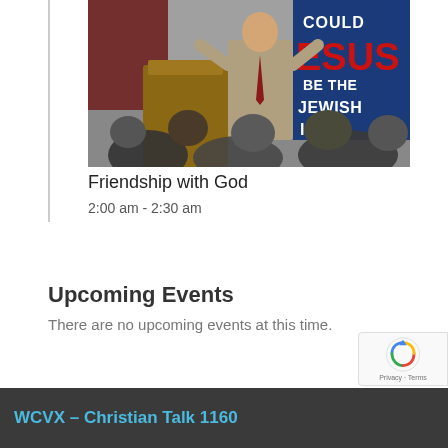[Figure (photo): A man in a grey suit and red tie speaking at a podium in front of a banner that reads 'Could Jesus Be The Jewish Messiah?' with an audience visible in the foreground.]
Friendship with God
2:00 am - 2:30 am
Upcoming Events
There are no upcoming events at this time.
WCVX – Christian Talk 1160